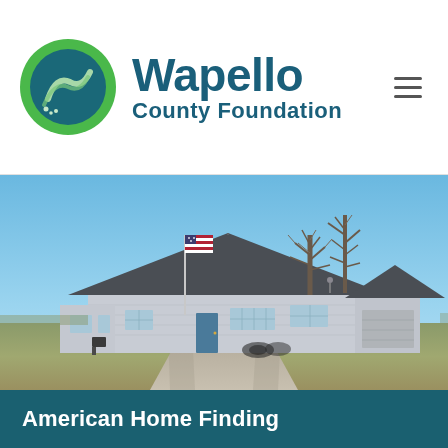Wapello County Foundation
[Figure (photo): Exterior photo of a single-story light gray building with a dark shingled roof, an American flag on a pole, bare winter trees in background, gravel driveway, flat rural landscape under a clear blue sky.]
American Home Finding